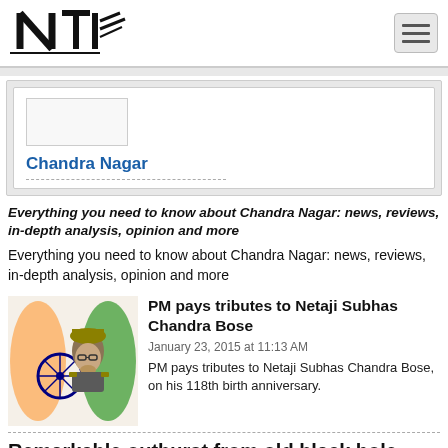NTI (logo)
[Figure (logo): NTI logo with stylized N and train track]
Chandra Nagar
Everything you need to know about Chandra Nagar: news, reviews, in-depth analysis, opinion and more
Everything you need to know about Chandra Nagar: news, reviews, in-depth analysis, opinion and more
[Figure (photo): Photo of Netaji Subhas Chandra Bose with Indian flag background]
PM pays tributes to Netaji Subhas Chandra Bose
January 23, 2015 at 11:13 AM
PM pays tributes to Netaji Subhas Chandra Bose, on his 118th birth anniversary.
Remarkable outburst from old black hole captured
January 2015 at 11:51 AM